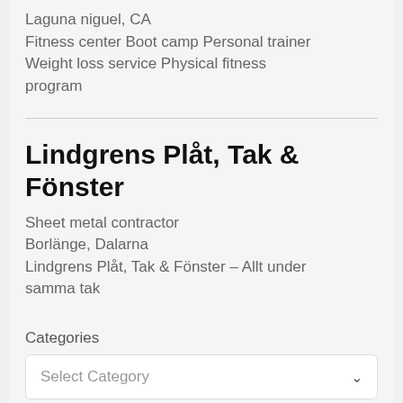Laguna niguel, CA
Fitness center Boot camp Personal trainer Weight loss service Physical fitness program
Lindgrens Plåt, Tak & Fönster
Sheet metal contractor
Borlänge, Dalarna
Lindgrens Plåt, Tak & Fönster – Allt under samma tak
Categories
Select Category